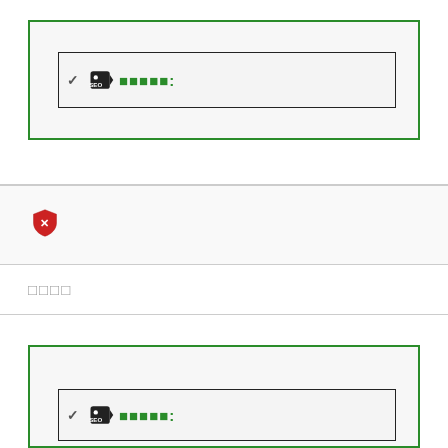[Figure (screenshot): UI widget showing a green-bordered box containing an inner dark-bordered input field with a checkmark, SEO tag icon, green placeholder text (squares), and a colon]
[Figure (screenshot): Red shield icon with white X mark inside, representing a security or error indicator]
□□□□
[Figure (screenshot): UI widget showing a second green-bordered box containing an inner dark-bordered input field with a checkmark, SEO tag icon, green placeholder text (squares), and a colon]